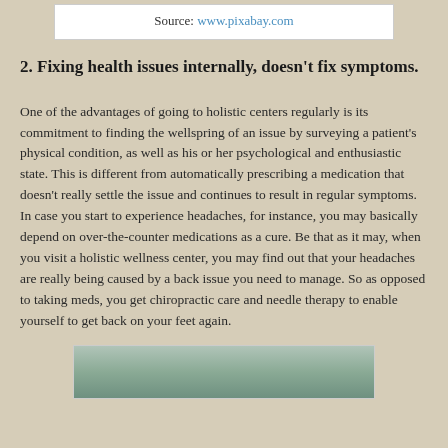Source: www.pixabay.com
2. Fixing health issues internally, doesn't fix symptoms.
One of the advantages of going to holistic centers regularly is its commitment to finding the wellspring of an issue by surveying a patient's physical condition, as well as his or her psychological and enthusiastic state. This is different from automatically prescribing a medication that doesn't really settle the issue and continues to result in regular symptoms. In case you start to experience headaches, for instance, you may basically depend on over-the-counter medications as a cure. Be that as it may, when you visit a holistic wellness center, you may find out that your headaches are really being caused by a back issue you need to manage. So as opposed to taking meds, you get chiropractic care and needle therapy to enable yourself to get back on your feet again.
[Figure (photo): A photo image partially visible at the bottom of the page, showing what appears to be a person, sourced from pixabay.com]